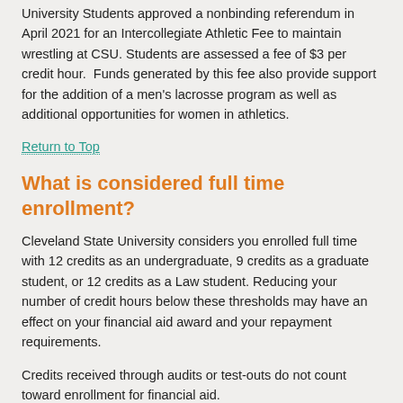University Students approved a nonbinding referendum in April 2021 for an Intercollegiate Athletic Fee to maintain wrestling at CSU. Students are assessed a fee of $3 per credit hour. Funds generated by this fee also provide support for the addition of a men's lacrosse program as well as additional opportunities for women in athletics.
Return to Top
What is considered full time enrollment?
Cleveland State University considers you enrolled full time with 12 credits as an undergraduate, 9 credits as a graduate student, or 12 credits as a Law student. Reducing your number of credit hours below these thresholds may have an effect on your financial aid award and your repayment requirements.
Credits received through audits or test-outs do not count toward enrollment for financial aid.
Return to Top